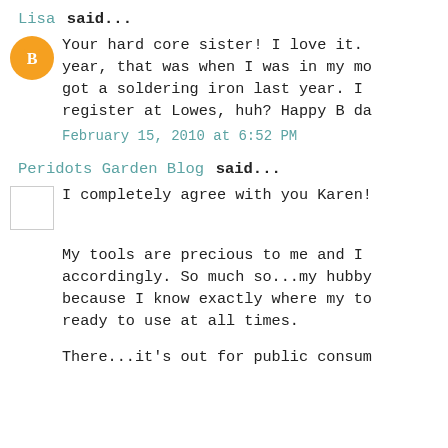Lisa said...
Your hard core sister! I love it. year, that was when I was in my mo got a soldering iron last year. I register at Lowes, huh? Happy B da
February 15, 2010 at 6:52 PM
Peridots Garden Blog said...
I completely agree with you Karen!
My tools are precious to me and I accordingly. So much so...my hubby because I know exactly where my to ready to use at all times.
There...it's out for public consum